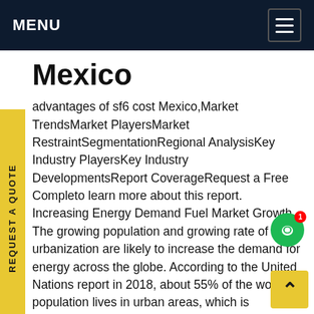MENU
Mexico
advantages of sf6 cost Mexico,Market TrendsMarket PlayersMarket RestraintSegmentationRegional AnalysisKey Industry PlayersKey Industry DevelopmentsReport CoverageRequest a Free Completo learn more about this report. Increasing Energy Demand Fuel Market Growth The growing population and growing rate of urbanization are likely to increase the demand for energy across the globe. According to the United Nations report in 2018, about 55% of the world's population lives in urban areas, which is projected to increase to 68% by 2050. The extensive population shifting to cities is increasing the demand for electricity. Moreover, enormoSee more on